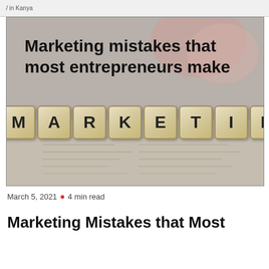/ in Kanya
[Figure (photo): Photo of scrabble tiles spelling MARKETING on a newspaper background, with overlaid text reading 'Marketing mistakes that most entrepreneurs make']
March 5, 2021 • 4 min read
Marketing Mistakes that Most